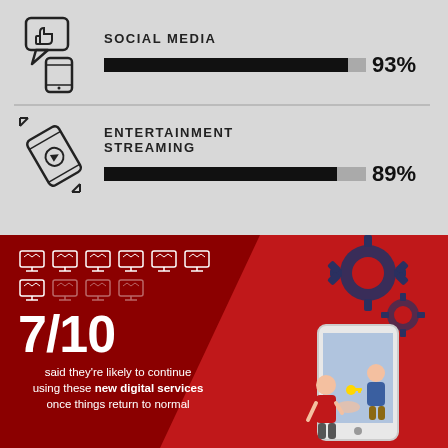[Figure (bar-chart): Top digital activities]
[Figure (infographic): 7 out of 10 people said they're likely to continue using new digital services once things return to normal, illustrated with monitor icons and a smartphone illustration with gears.]